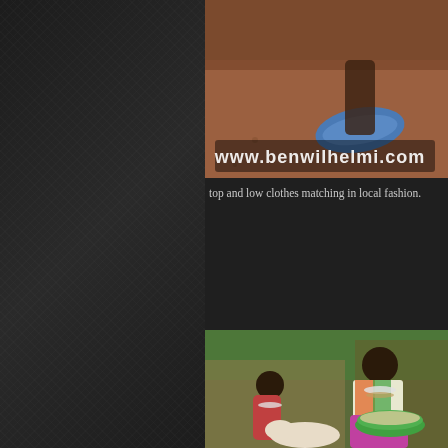[Figure (photo): Close-up photo of feet wearing blue sandals on red earth ground, with www.benwilhelmi.com watermark overlay]
top and low clothes matching in local fashion.
[Figure (photo): Photo of African women in colorful traditional Maasai clothing and beaded jewelry, one holding a green bowl of grain, with goats visible in foreground and thatched structures in background]